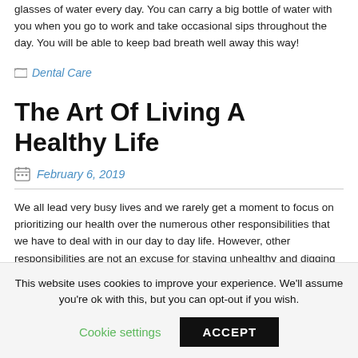glasses of water every day. You can carry a big bottle of water with you when you go to work and take occasional sips throughout the day. You will be able to keep bad breath well away this way!
Dental Care
The Art Of Living A Healthy Life
February 6, 2019
We all lead very busy lives and we rarely get a moment to focus on prioritizing our health over the numerous other responsibilities that we have to deal with in our day to day life. However, other responsibilities are not an excuse for staying unhealthy and digging your own grave in terms of the
This website uses cookies to improve your experience. We'll assume you're ok with this, but you can opt-out if you wish.